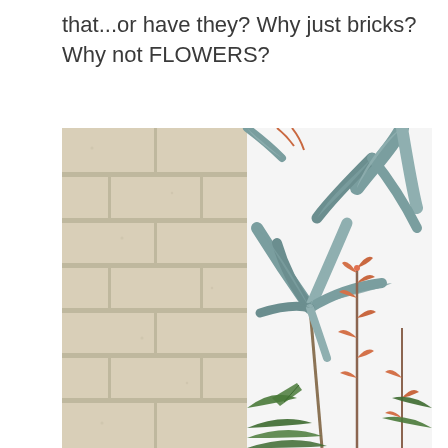that...or have they? Why just bricks? Why not FLOWERS?
[Figure (photo): Split image: left half shows a beige/cream painted cinder block brick wall with horizontal mortar lines; right half shows a white fabric or wallpaper with a botanical floral print featuring large blue-green agave or aloe plants, green tropical leaves, and coral/orange flowering stalks.]